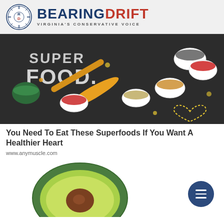BEARINGDRIFT — VIRGINIA'S CONSERVATIVE VOICE
[Figure (photo): Superfoods arranged on a dark chalkboard background with 'SUPER FOOD.' written in chalk. Various bowls containing seeds, berries, nuts, and other superfoods are visible, along with a yellow wooden spoon and a heart shape made from small seeds.]
You Need To Eat These Superfoods If You Want A Healthier Heart
www.anymuscle.com
[Figure (photo): A cross-section of a halved avocado showing green flesh and large seed, partially visible at the bottom of the page.]